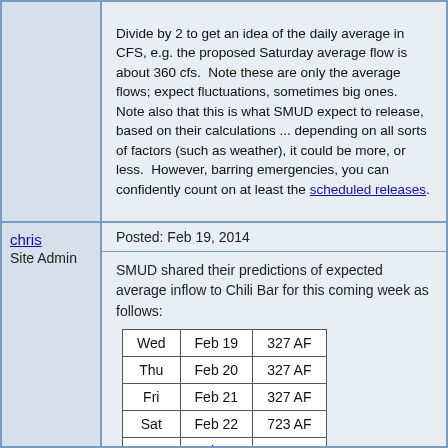Divide by 2 to get an idea of the daily average in CFS, e.g. the proposed Saturday average flow is about 360 cfs.  Note these are only the average flows; expect fluctuations, sometimes big ones.  Note also that this is what SMUD expect to release, based on their calculations ... depending on all sorts of factors (such as weather), it could be more, or less.  However, barring emergencies, you can confidently count on at least the scheduled releases.
chris
Site Admin
Posted: Feb 19, 2014
SMUD shared their predictions of expected average inflow to Chili Bar for this coming week as follows:
| Wed | Feb 19 | 327 AF |
| Thu | Feb 20 | 327 AF |
| Fri | Feb 21 | 327 AF |
| Sat | Feb 22 | 723 AF |
| Sun | Feb 23 | 327 AF |